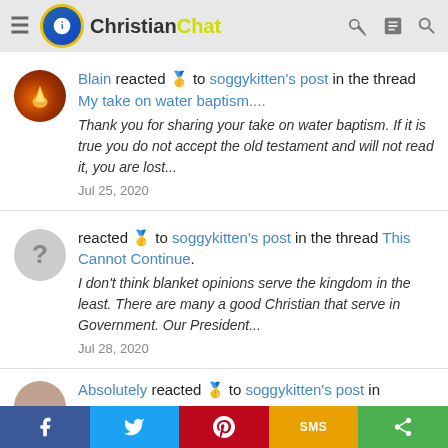ChristianChat
Blain reacted 🥇 to soggykitten's post in the thread My take on water baptism.... Thank you for sharing your take on water baptism. If it is true you do not accept the old testament and will not read it, you are lost... Jul 25, 2020
reacted 🥇 to soggykitten's post in the thread This Cannot Continue. I don't think blanket opinions serve the kingdom in the least. There are many a good Christian that serve in Government. Our President... Jul 28, 2020
Absolutely reacted 🥇 to soggykitten's post in
f  Twitter  Pinterest  SMS  Share